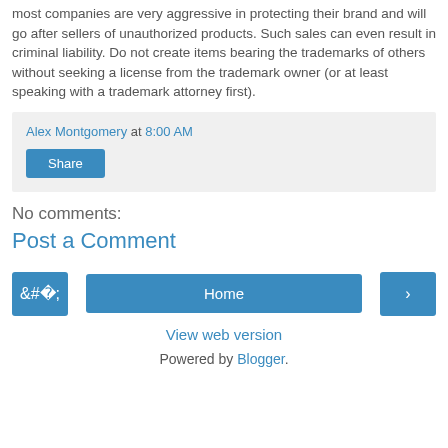most companies are very aggressive in protecting their brand and will go after sellers of unauthorized products. Such sales can even result in criminal liability. Do not create items bearing the trademarks of others without seeking a license from the trademark owner (or at least speaking with a trademark attorney first).
Alex Montgomery at 8:00 AM
Share
No comments:
Post a Comment
‹ Home › View web version Powered by Blogger.